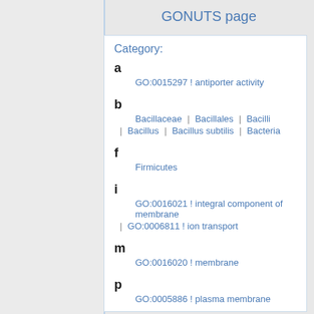GONUTS page
Category:
a — GO:0015297 ! antiporter activity
b — Bacillaceae | Bacillales | Bacilli | Bacillus | Bacillus subtilis | Bacteria
f — Firmicutes
i — GO:0016021 ! integral component of membrane | GO:0006811 ! ion transport
m — GO:0016020 ! membrane
p — GO:0005886 ! plasma membrane